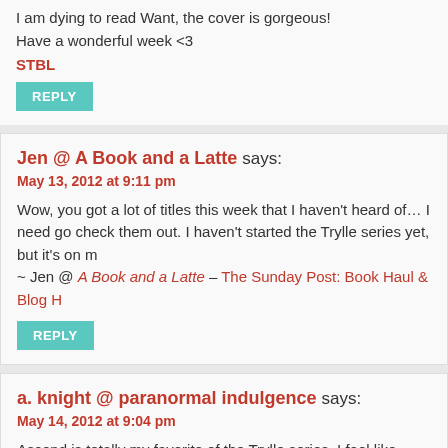I am dying to read Want, the cover is gorgeous!
Have a wonderful week <3
STBL
REPLY
Jen @ A Book and a Latte says:
May 13, 2012 at 9:11 pm
Wow, you got a lot of titles this week that I haven't heard of… I need go check them out. I haven't started the Trylle series yet, but it's on m ~ Jen @ A Book and a Latte – The Sunday Post: Book Haul & Blog H
REPLY
a. knight @ paranormal indulgence says:
May 14, 2012 at 9:04 pm
Ascend is totally my favorite of the Trylle series. I feel like everything wanted to happen did and in the best possible ways. These other bo up are new to me! They look exciting. 🙂